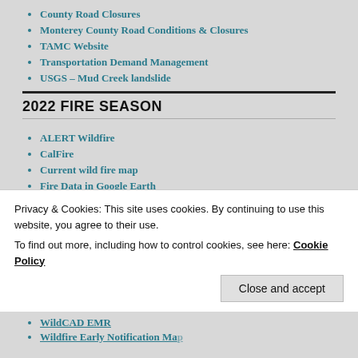County Road Closures
Monterey County Road Conditions & Closures
TAMC Website
Transportation Demand Management
USGS – Mud Creek landslide
2022 FIRE SEASON
ALERT Wildfire
CalFire
Current wild fire map
Fire Data in Google Earth
Fire Pre-Attack Planning Maps
FIRMS Fire Data Maps (replacing google earth as of 12/31/21)
Privacy & Cookies: This site uses cookies. By continuing to use this website, you agree to their use.
To find out more, including how to control cookies, see here: Cookie Policy
WildCAD EMR
Wildfire Early Notification Map